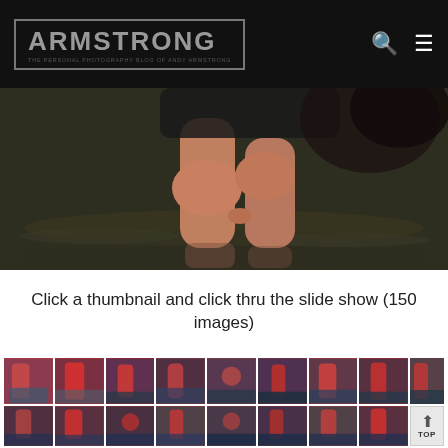ARMSTRONG — THE PERSONAL PHOTOGRAPHY BLOG OF ANDY ARMSTRONG
[Figure (photo): Close-up photo of a person's legs standing in water with rippling water surface visible, dark moody tones]
Click a thumbnail and click thru the slide show (150 images)
[Figure (photo): Grid of thumbnail photos showing a model in red swimwear at sunset by water, two rows of 9 thumbnails each]